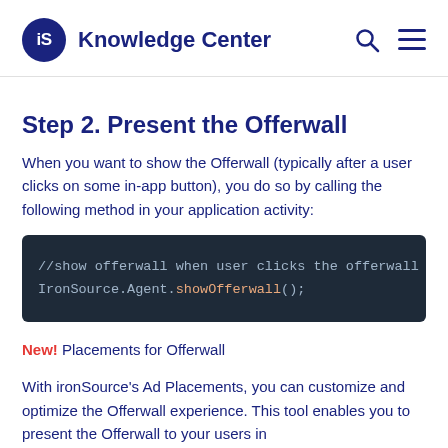iS Knowledge Center
Step 2. Present the Offerwall
When you want to show the Offerwall (typically after a user clicks on some in-app button), you do so by calling the following method in your application activity:
[Figure (screenshot): Code block showing: //show offerwall when user clicks the offerwall
IronSource.Agent.showOfferwall();]
New! Placements for Offerwall
With ironSource's Ad Placements, you can customize and optimize the Offerwall experience. This tool enables you to present the Offerwall to your users in